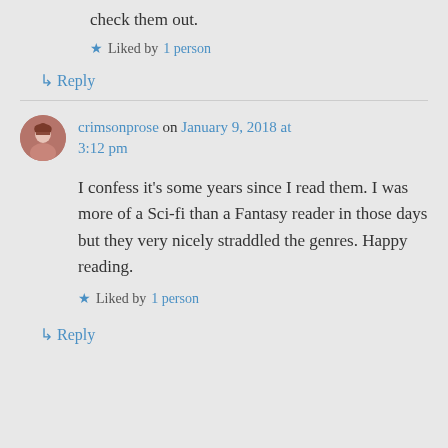check them out.
★ Liked by 1 person
↳ Reply
crimsonprose on January 9, 2018 at 3:12 pm
I confess it's some years since I read them. I was more of a Sci-fi than a Fantasy reader in those days but they very nicely straddled the genres. Happy reading.
★ Liked by 1 person
↳ Reply